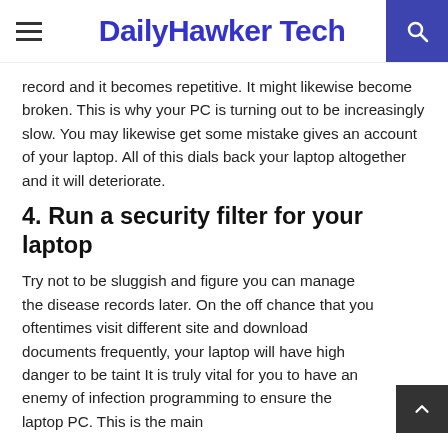DailyHawker Tech
record and it becomes repetitive. It might likewise become broken. This is why your PC is turning out to be increasingly slow. You may likewise get some mistake gives an account of your laptop. All of this dials back your laptop altogether and it will deteriorate.
4. Run a security filter for your laptop
Try not to be sluggish and figure you can manage the disease records later. On the off chance that you oftentimes visit different site and download documents frequently, your laptop will have high danger to be tainted. It is truly vital for you to have an enemy of infection programming to ensure the laptop PC. This is the main